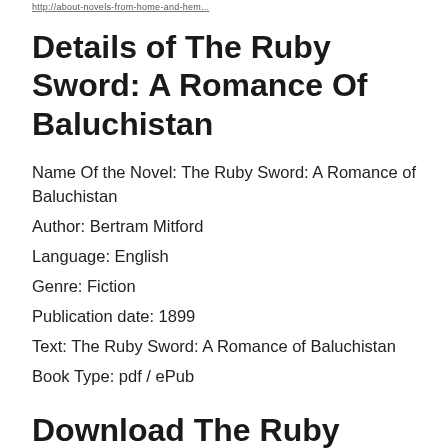http://about-novels-from-home-and-hem...
Details of The Ruby Sword: A Romance Of Baluchistan
Name Of the Novel: The Ruby Sword: A Romance of Baluchistan
Author: Bertram Mitford
Language: English
Genre: Fiction
Publication date: 1899
Text: The Ruby Sword: A Romance of Baluchistan
Book Type: pdf / ePub
Download The Ruby Sword: A